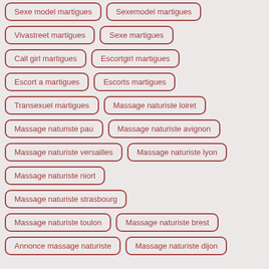Sexe model martigues
Sexemodel martigues
Vivastreet martigues
Sexe martigues
Call girl martigues
Escortgirl martigues
Escort a martigues
Escorts martigues
Transexuel martigues
Massage naturiste loiret
Massage naturiste pau
Massage naturiste avignon
Massage naturiste versailles
Massage naturiste lyon
Massage naturiste niort
Massage naturiste strasbourg
Massage naturiste toulon
Massage naturiste brest
Annonce massage naturiste
Massage naturiste dijon